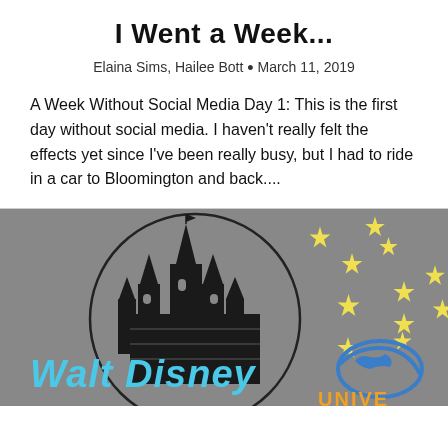I Went a Week...
Elaina Sims, Hailee Bott • March 11, 2019
A Week Without Social Media Day 1: This is the first day without social media. I haven't really felt the effects yet since I've been really busy, but I had to ride in a car to Bloomington and back....
[Figure (illustration): Gray background with Walt Disney castle logo and 'Walt Disney' text in blue, yellow stars scattered on right side, partial Universal Studios logo at bottom right]